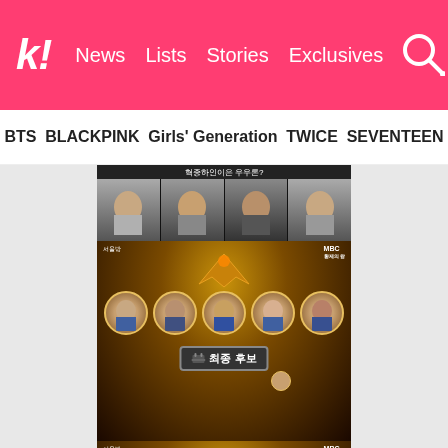koreaboo | News | Lists | Stories | Exclusives
BTS | BLACKPINK | Girls' Generation | TWICE | SEVENTEEN
[Figure (screenshot): Screenshots from Korean TV show MBC featuring celebrity faces arranged in circles with Korean text '최종 후보' (final candidate) and '새 분의 많은도움 부탁드립니다']